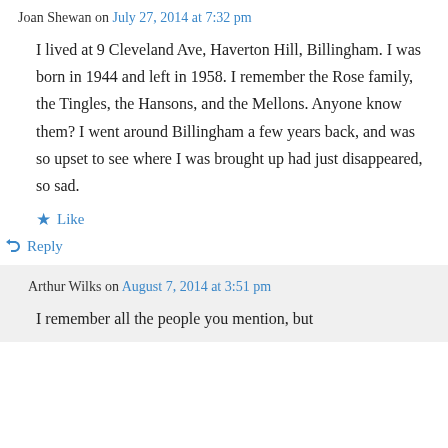Joan Shewan on July 27, 2014 at 7:32 pm
I lived at 9 Cleveland Ave, Haverton Hill, Billingham. I was born in 1944 and left in 1958. I remember the Rose family, the Tingles, the Hansons, and the Mellons. Anyone know them? I went around Billingham a few years back, and was so upset to see where I was brought up had just disappeared, so sad.
★ Like
↳ Reply
Arthur Wilks on August 7, 2014 at 3:51 pm
I remember all the people you mention, but